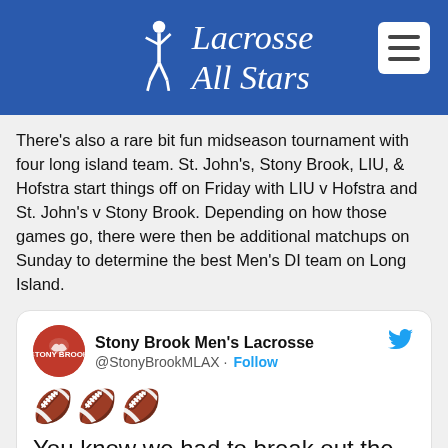Lacrosse All Stars
There's also a rare bit fun midseason tournament with four long island team. St. John's, Stony Brook, LIU, & Hofstra start things off on Friday with LIU v Hofstra and St. John's v Stony Brook. Depending on how those games go, there were then be additional matchups on Sunday to determine the best Men's DI team on Long Island.
[Figure (screenshot): Embedded tweet from @StonyBrookMLAX with text 'You know we had to break out the new lids for the LI Cup.' and three helmet emoji]